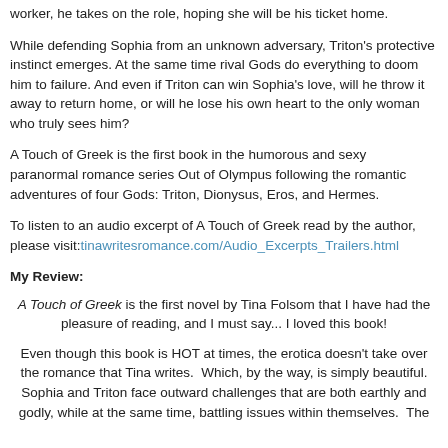worker, he takes on the role, hoping she will be his ticket home.
While defending Sophia from an unknown adversary, Triton's protective instinct emerges. At the same time rival Gods do everything to doom him to failure. And even if Triton can win Sophia's love, will he throw it away to return home, or will he lose his own heart to the only woman who truly sees him?
A Touch of Greek is the first book in the humorous and sexy paranormal romance series Out of Olympus following the romantic adventures of four Gods: Triton, Dionysus, Eros, and Hermes.
To listen to an audio excerpt of A Touch of Greek read by the author, please visit: tinawritesromance.com/Audio_Excerpts_Trailers.html
My Review:
A Touch of Greek is the first novel by Tina Folsom that I have had the pleasure of reading, and I must say... I loved this book!
Even though this book is HOT at times, the erotica doesn't take over the romance that Tina writes.  Which, by the way, is simply beautiful. Sophia and Triton face outward challenges that are both earthly and godly, while at the same time, battling issues within themselves. The